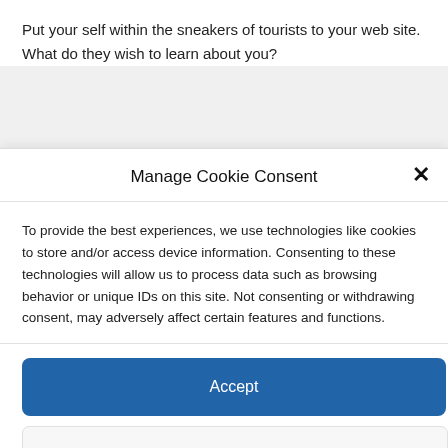Put your self within the sneakers of tourists to your web site. What do they wish to learn about you?
Manage Cookie Consent
To provide the best experiences, we use technologies like cookies to store and/or access device information. Consenting to these technologies will allow us to process data such as browsing behavior or unique IDs on this site. Not consenting or withdrawing consent, may adversely affect certain features and functions.
Accept
Deny
View preferences
Privacy Policy for DrFollower   Privacy Statement